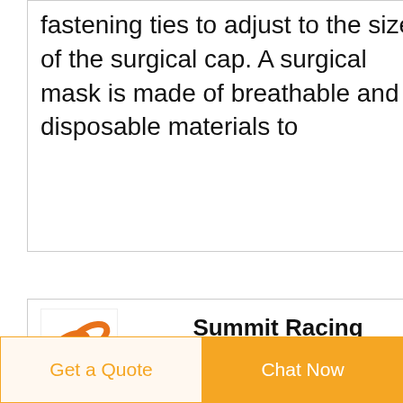fastening ties to adjust to the size of the surgical cap. A surgical mask is made of breathable and disposable materials to
[Figure (logo): Summit Racing logo with orange chain links]
Summit Racing Aftermarket Parts & Accessories
Car parts for modern & classic cars. Jeep & truck accessories. Street performance & off-road parts. Mechanic tools & shop equipment. Free shipping on $99 orders.
Get a Quote
Chat Now